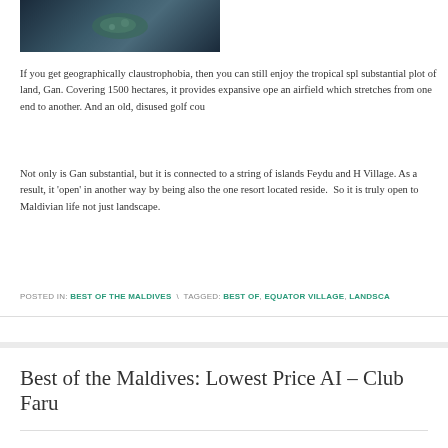[Figure (photo): Aerial satellite view of an island (Gan) surrounded by dark ocean water]
If you get geographically claustrophobia, then you can still enjoy the tropical spl substantial plot of land, Gan. Covering 1500 hectares, it provides expansive ope an airfield which stretches from one end to another. And an old, disused golf cou
Not only is Gan substantial, but it is connected to a string of islands Feydu and H Village. As a result, it 'open' in another way by being also the one resort located reside. So it is truly open to Maldivian life not just landscape.
POSTED IN: BEST OF THE MALDIVES  \  TAGGED: BEST OF, EQUATOR VILLAGE, LANDSCA
Best of the Maldives: Lowest Price AI – Club Faru